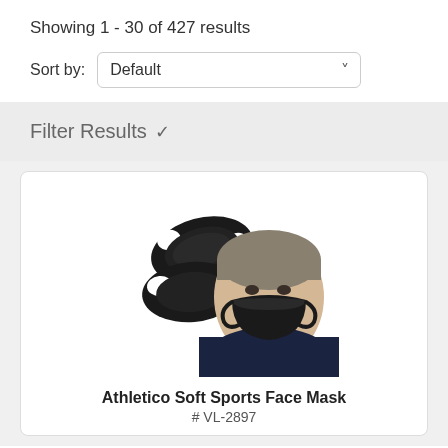Showing 1 - 30 of 427 results
Sort by: Default
Filter Results
[Figure (photo): Product photo showing two black athletic face masks and a man wearing one. The Athletico Soft Sports Face Mask product listing image.]
Athletico Soft Sports Face Mask
# VL-2897